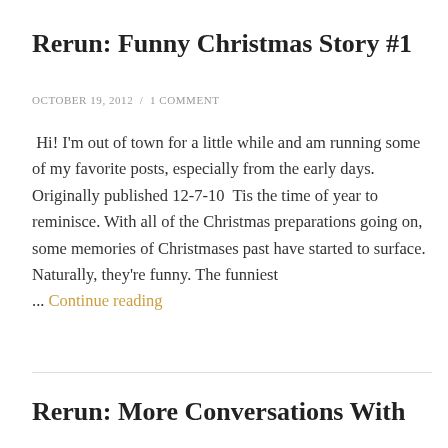Rerun: Funny Christmas Story #1
OCTOBER 19, 2012  /  1 COMMENT
Hi! I'm out of town for a little while and am running some of my favorite posts, especially from the early days. Originally published 12-7-10  Tis the time of year to reminisce. With all of the Christmas preparations going on, some memories of Christmases past have started to surface. Naturally, they're funny. The funniest ... Continue reading
Rerun: More Conversations With